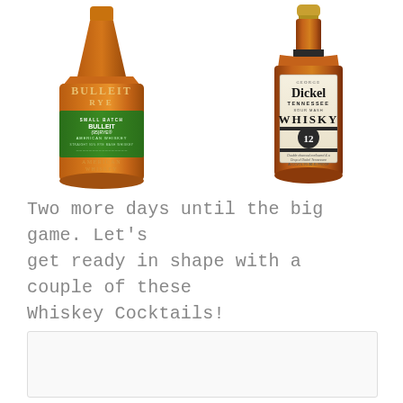[Figure (photo): Two whiskey bottles side by side. Left: Bulleit Rye American Whiskey bottle with orange glass and green label reading 'SMALL BATCH BULLEIT(95)RYE AMERICAN WHISKEY STRAIGHT 95% RYE MASH WHISKEY'. Right: George Dickel Tennessee Sour Mash Whisky No. 12, 90 proof, in a rectangular bottle with a cream/white label.]
Two more days until the big game. Let's get ready in shape with a couple of these Whiskey Cocktails!